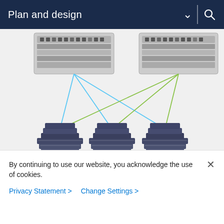Plan and design
[Figure (network-graph): Network diagram showing two Cisco MDS 9000 Family switches at the top connected by crossing blue and green lines to three groups of NVMe/SCSI hosts (server stacks) at the bottom, each group sitting on a green oval base. Blue lines from left switch and green lines from right switch crisscross to all three host clusters.]
NVMe/SCSI hosts
Final setup using Cisco MDS 9000 Family switches
By continuing to use our website, you acknowledge the use of cookies.
Privacy Statement >   Change Settings >